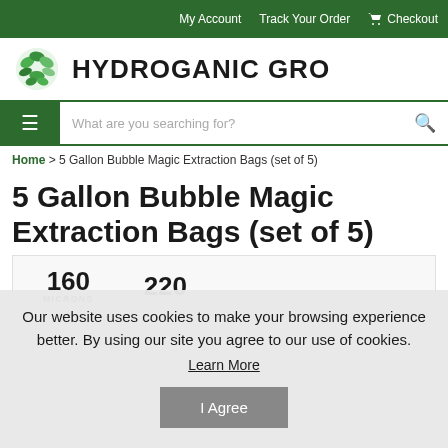My Account | Track Your Order | Checkout
HYDROGANIC GRO
What are you searching for?
Home > 5 Gallon Bubble Magic Extraction Bags (set of 5)
5 Gallon Bubble Magic Extraction Bags (set of 5)
[Figure (other): Product micron size indicator showing 160 MICRONS and partial view of another value]
Our website uses cookies to make your browsing experience better. By using our site you agree to our use of cookies.
Learn More
I Agree